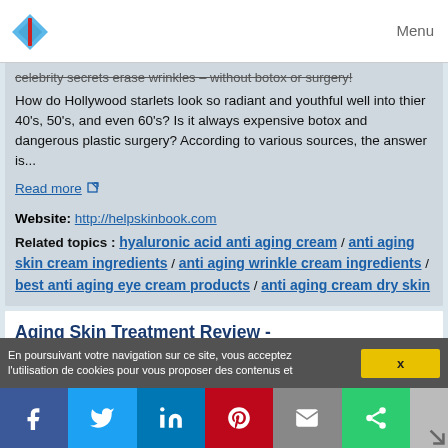Menu
celebrity secrets erase wrinkles – without botox or surgery!
How do Hollywood starlets look so radiant and youthful well into thier 40's, 50's, and even 60's? Is it always expensive botox and dangerous plastic surgery? According to various sources, the answer is...
Read more
Website: http://helpskinbook.com
Related topics : hyaluronic acid anti aging cream / anti aging skin cream ingredients / anti aging wrinkle cream ingredients / best anti aging eye cream products / anti aging cream dry skin
Aging Skin Treatment Review - helpskinlake.com
Style
En poursuivant votre navigation sur ce site, vous acceptez l'utilisation de cookies pour vous proposer des contenus et
x